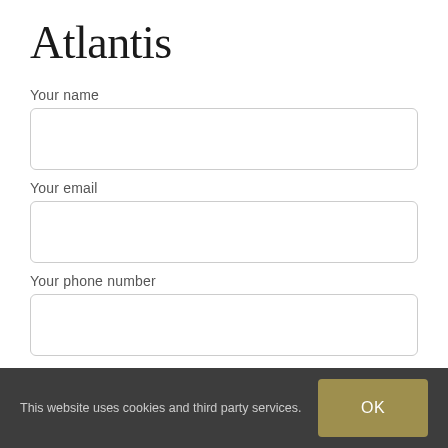Atlantis
Your name
Your email
Your phone number
Your message (optional)
This website uses cookies and third party services.